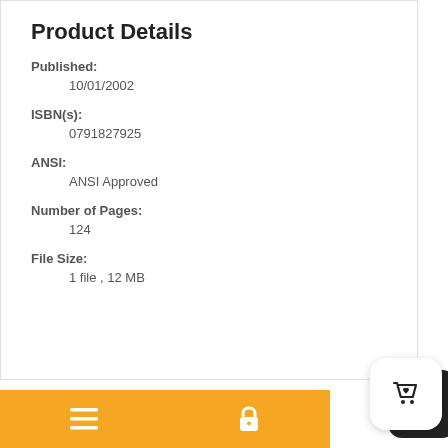Product Details
Published:
10/01/2002
ISBN(s):
0791827925
ANSI:
ANSI Approved
Number of Pages:
124
File Size:
1 file , 12 MB
[Figure (infographic): Orange mobile navigation bar with hamburger menu icon and lock icon, plus a floating white cart button with shopping cart icon on a dark rounded background]